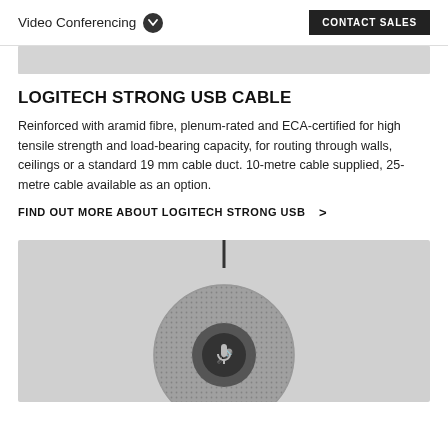Video Conferencing   CONTACT SALES
[Figure (illustration): Gray banner/bar placeholder image at top]
LOGITECH STRONG USB CABLE
Reinforced with aramid fibre, plenum-rated and ECA-certified for high tensile strength and load-bearing capacity, for routing through walls, ceilings or a standard 19 mm cable duct. 10-metre cable supplied, 25-metre cable available as an option.
FIND OUT MORE ABOUT LOGITECH STRONG USB >
[Figure (photo): Logitech round conference speakerphone/microphone device on a gray background, with a cable attached at top and Logitech logo button in center]